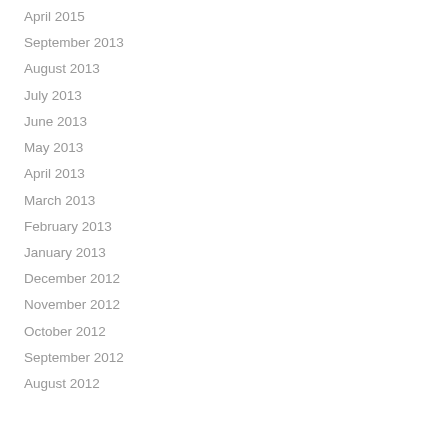April 2015
September 2013
August 2013
July 2013
June 2013
May 2013
April 2013
March 2013
February 2013
January 2013
December 2012
November 2012
October 2012
September 2012
August 2012